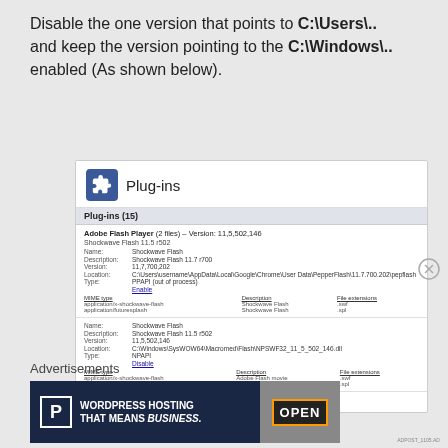Disable the one version that points to C:\Users\.. and keep the version pointing to the C:\Windows\.. enabled (As shown below).
[Figure (screenshot): Chrome browser Plug-ins settings page showing two Shockwave Flash plugin entries. The first entry (PPAPI, out of process) has an Enable link and path to C:\Users\...AppData\Local\Google\Chrome\... The second entry (NPAPI) has a Disable link and path to C:\Windows\SysWOW64\Macromed\Flash\NPSWF32_11_5_502_146.dll. A 'Always allowed' checkbox is shown at the bottom.]
[Figure (other): Close/X button circle icon]
Advertisements
[Figure (other): Advertisement banner: WordPress Hosting That Means BUSINESS. with P icon on left and OPEN sign photo on right]